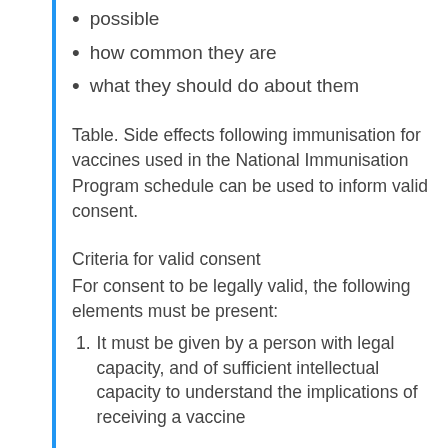possible
how common they are
what they should do about them
Table. Side effects following immunisation for vaccines used in the National Immunisation Program schedule can be used to inform valid consent.
Criteria for valid consent
For consent to be legally valid, the following elements must be present:
1. It must be given by a person with legal capacity, and of sufficient intellectual capacity to understand the implications of receiving a vaccine